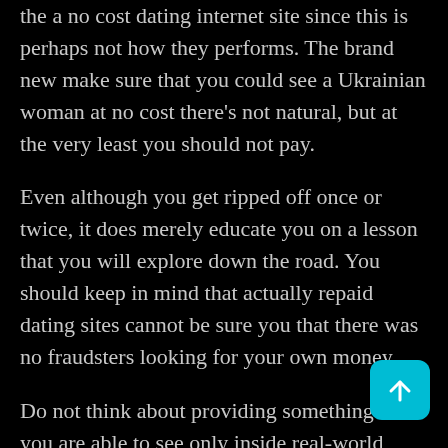the a no cost dating internet site since this is perhaps not how they performs. The brand new make sure that you could see a Ukrainian woman at no cost there's not natural, but at the very least you should not pay.
Even although you get ripped off once or twice, it does merely educate you on a lesson that you will explore down the road. You should keep in mind that actually repaid dating sites cannot be sure you that there was no fraudsters looking for your own money.
Do not think about providing something that you are able to see only inside real-world because there is no Ukrainian female is certainly going to present you
[Figure (other): Teal rounded square button with an upward-pointing arrow icon (back-to-top button), positioned in lower right corner]